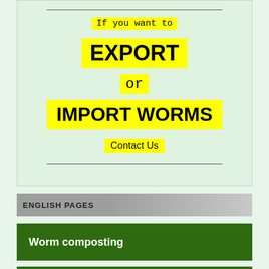If you want to
EXPORT
or
IMPORT WORMS
Contact Us
ENGLISH PAGES
Worm composting
Worm Composting Blog